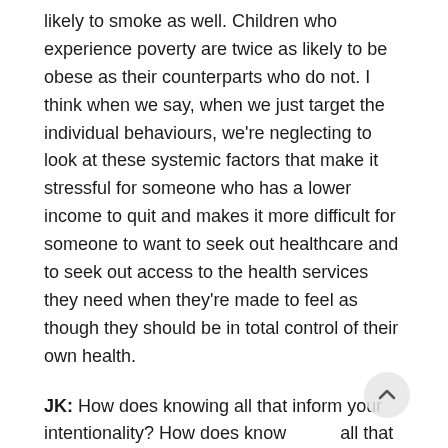likely to smoke as well. Children who experience poverty are twice as likely to be obese as their counterparts who do not. I think when we say, when we just target the individual behaviours, we're neglecting to look at these systemic factors that make it stressful for someone who has a lower income to quit and makes it more difficult for someone to want to seek out healthcare and to seek out access to the health services they need when they're made to feel as though they should be in total control of their own health.
JK: How does knowing all that inform your intentionality? How does knowing all that inform your practice and your attitudes towards care as a health